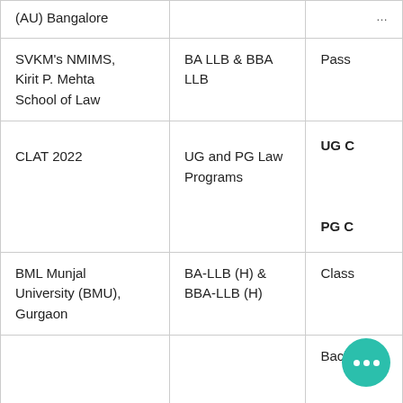| Institution | Programs | Eligibility |
| --- | --- | --- |
| (AU) Bangalore |  | ... |
| SVKM's NMIMS, Kirit P. Mehta School of Law | BA LLB & BBA LLB | Pass... |
| CLAT 2022 | UG and PG Law Programs | UG C...
PG C... |
| BML Munjal University (BMU), Gurgaon | BA-LLB (H) & BBA-LLB (H) | Class... |
| Azim Premji... |  | Bach... |